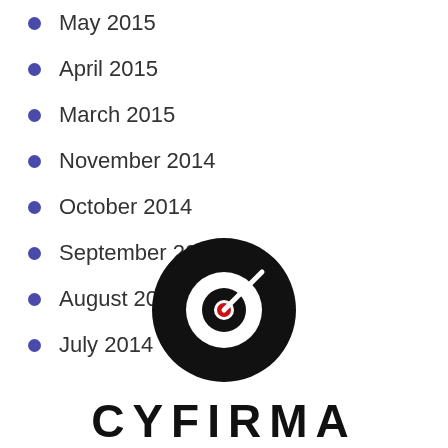May 2015
April 2015
March 2015
November 2014
October 2014
September 2014
August 2014
July 2014
[Figure (logo): CYFIRMA logo: black circle with white inner circle and red center dot, with a white line extending from center to upper right, and bold black text 'CYFIRMA' below]